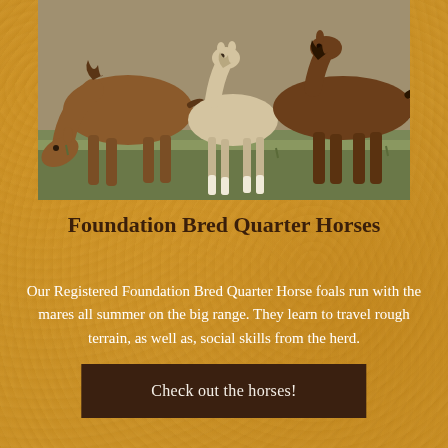[Figure (photo): Photograph of horses in a field — a brown adult horse grazing with head down on the left, a pale/cream-colored foal standing in the center, and additional brown horses in the background, on a grassy range.]
Foundation Bred Quarter Horses
Our Registered Foundation Bred Quarter Horse foals run with the mares all summer on the big range. They learn to travel rough terrain, as well as, social skills from the herd.
Check out the horses!